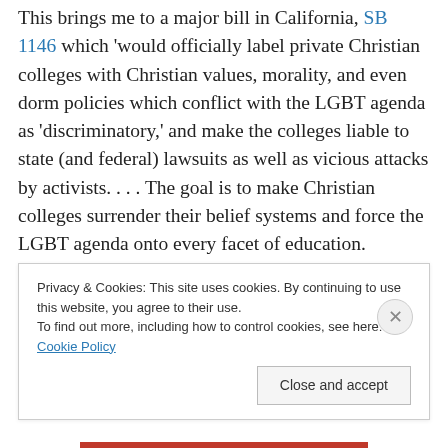This brings me to a major bill in California, SB 1146 which 'would officially label private Christian colleges with Christian values, morality, and even dorm policies which conflict with the LGBT agenda as 'discriminatory,' and make the colleges liable to state (and federal) lawsuits as well as vicious attacks by activists. . . . The goal is to make Christian colleges surrender their belief systems and force the LGBT agenda onto every facet of education. California is the first state in the US to attempt this outrageous action. If it passes there, it will surely spread to other
Privacy & Cookies: This site uses cookies. By continuing to use this website, you agree to their use. To find out more, including how to control cookies, see here: Cookie Policy
Close and accept